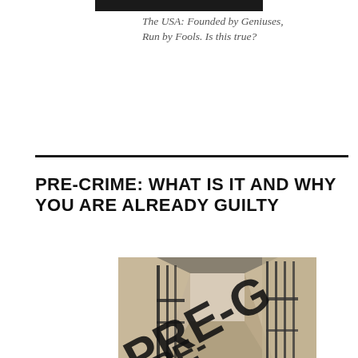[Figure (photo): Dark horizontal banner image at top of page]
The USA: Founded by Geniuses, Run by Fools. Is this true?
PRE-CRIME: WHAT IS IT AND WHY YOU ARE ALREADY GUILTY
[Figure (photo): Photo of a prison corridor with iron bar gates, overlaid with bold black text reading PRE-G... (Pre-Crime) and a vertical watermark text 'End Time Prophecy Report']